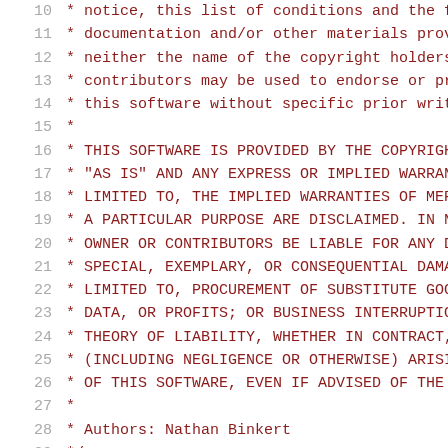Source code listing showing lines 10-31 of a C/C++ file with BSD license comment and #include <Python.h>
10: * notice, this list of conditions and the foll...
11: * documentation and/or other materials provide...
12: * neither the name of the copyright holders no...
13: * contributors may be used to endorse or promot...
14: * this software without specific prior written...
15: *
16: * THIS SOFTWARE IS PROVIDED BY THE COPYRIGHT HO...
17: * "AS IS" AND ANY EXPRESS OR IMPLIED WARRANTIES...
18: * LIMITED TO, THE IMPLIED WARRANTIES OF MERCHA...
19: * A PARTICULAR PURPOSE ARE DISCLAIMED. IN NO EV...
20: * OWNER OR CONTRIBUTORS BE LIABLE FOR ANY DIRE...
21: * SPECIAL, EXEMPLARY, OR CONSEQUENTIAL DAMAGES...
22: * LIMITED TO, PROCUREMENT OF SUBSTITUTE GOODS O...
23: * DATA, OR PROFITS; OR BUSINESS INTERRUPTION) H...
24: * THEORY OF LIABILITY, WHETHER IN CONTRACT, STR...
25: * (INCLUDING NEGLIGENCE OR OTHERWISE) ARISING I...
26: * OF THIS SOFTWARE, EVEN IF ADVISED OF THE POSS...
27: *
28: * Authors: Nathan Binkert
29: */
30: (empty)
31: #include <Python.h>